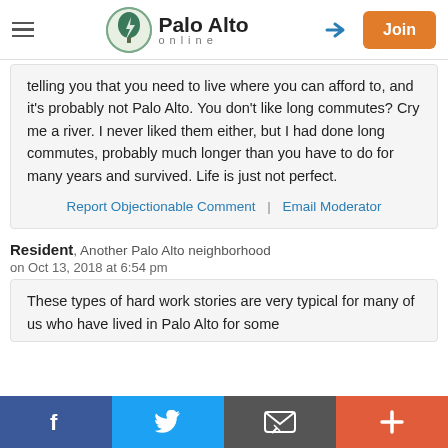Palo Alto online
telling you that you need to live where you can afford to, and it's probably not Palo Alto. You don't like long commutes? Cry me a river. I never liked them either, but I had done long commutes, probably much longer than you have to do for many years and survived. Life is just not perfect.
Report Objectionable Comment | Email Moderator
Resident, Another Palo Alto neighborhood
on Oct 13, 2018 at 6:54 pm
These types of hard work stories are very typical for many of us who have lived in Palo Alto for some
f | Twitter | Email | +